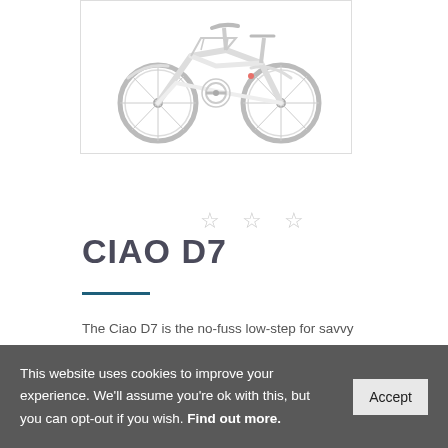[Figure (photo): White folding/compact bicycle with rack and fenders, shown against white background inside a bordered image box]
CIAO D7
The Ciao D7 is the no-fuss low-step for savvy urbanites. Equipped with rack and fenders so
This website uses cookies to improve your experience. We'll assume you're ok with this, but you can opt-out if you wish. Find out more.